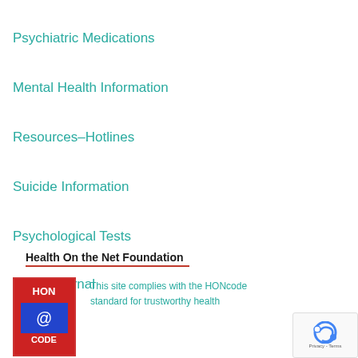Psychiatric Medications
Mental Health Information
Resources-Hotlines
Suicide Information
Psychological Tests
Mood Journal
Health On the Net Foundation
This site complies with the HONcode standard for trustworthy health